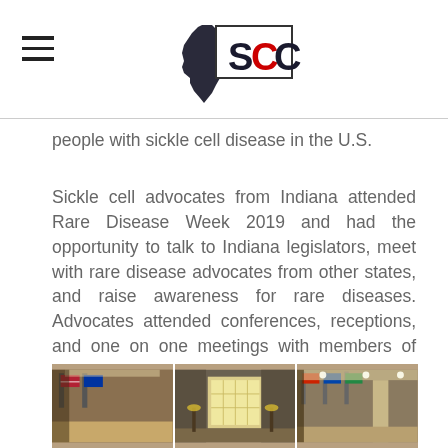SCC (Indiana Sickle Cell Care logo)
people with sickle cell disease in the U.S.
Sickle cell advocates from Indiana attended Rare Disease Week 2019 and had the opportunity to talk to Indiana legislators, meet with rare disease advocates from other states, and raise awareness for rare diseases. Advocates attended conferences, receptions, and one on one meetings with members of Congress and their staff. It was a great chance to hone advocacy skills, network, and learn more about the federal lawmaking process!
[Figure (photo): Two interior hallway photos showing flags, lobbies, and corridors, likely from a U.S. government building (Capitol or Senate/House office building).]